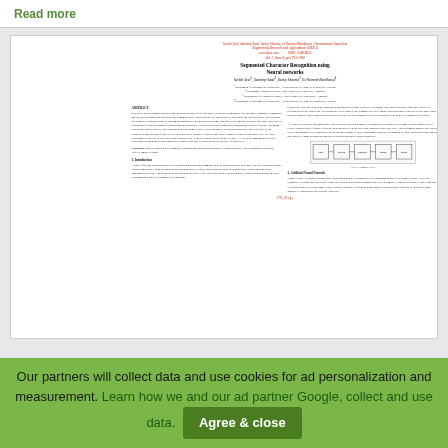Read more
[Figure (screenshot): Screenshot of a research paper titled 'Segmented Character Recognition using Neural networks' by Surbhi Syal, Sandeep Saod, Sanny Sharma, Navneet Randhawa, published in International Journal of Engineering Research and Applications. Shows abstract, introduction, keywords, figures and page footer.]
Our partners will collect data and use cookies for ad personalization and measurement. Learn how we and our ad partner Google, collect and use data. Agree & close